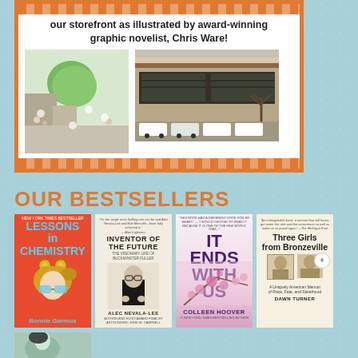[Figure (illustration): Promotional banner with orange diamond border pattern, white background, text about award-winning graphic novelist Chris Ware, with two illustrated book cover images showing an isometric street scene and a storefront]
OUR BESTSELLERS
[Figure (photo): Book cover: Lessons in Chemistry by Bonnie Garmus (red background, blue text, illustration of woman with chemistry elements)]
[Figure (photo): Book cover: Inventor of the Future - The Visionary Life of Buckminster Fuller by Alec Nevala-Lee]
[Figure (photo): Book cover: It Ends With Us by Colleen Hoover]
[Figure (photo): Book cover: Three Girls from Bronzeville by Dawn Turner - A Uniquely American Memoir of Race, Fate, and Sisterhood]
[Figure (illustration): Partially visible book cover at bottom left - appears to be an illustrated graphic novel style cover]